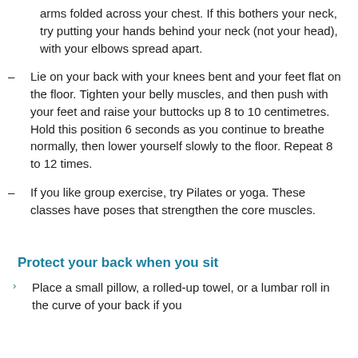arms folded across your chest. If this bothers your neck, try putting your hands behind your neck (not your head), with your elbows spread apart.
Lie on your back with your knees bent and your feet flat on the floor. Tighten your belly muscles, and then push with your feet and raise your buttocks up 8 to 10 centimetres. Hold this position 6 seconds as you continue to breathe normally, then lower yourself slowly to the floor. Repeat 8 to 12 times.
If you like group exercise, try Pilates or yoga. These classes have poses that strengthen the core muscles.
Protect your back when you sit
Place a small pillow, a rolled-up towel, or a lumbar roll in the curve of your back if you